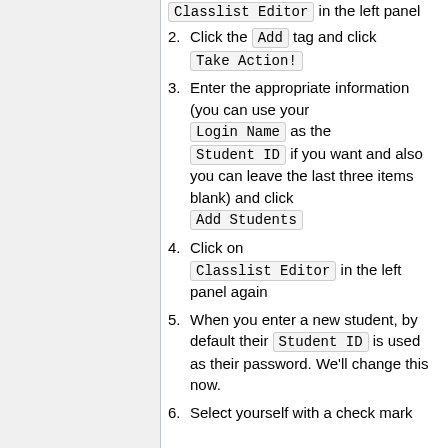Classlist Editor in the left panel
2. Click the Add tag and click Take Action!
3. Enter the appropriate information (you can use your Login Name as the Student ID if you want and also you can leave the last three items blank) and click Add Students
4. Click on Classlist Editor in the left panel again
5. When you enter a new student, by default their Student ID is used as their password. We'll change this now.
6. Select yourself with a check mark